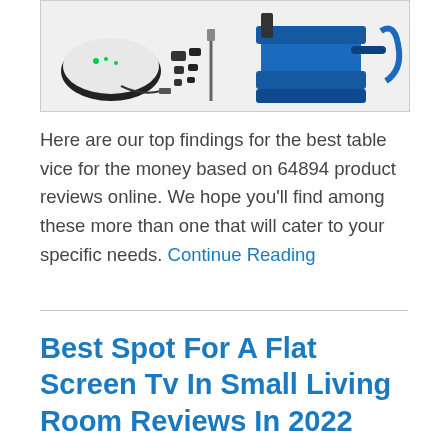[Figure (photo): Product images showing a gaming controller charging dock and a blue table vice/clamp]
Here are our top findings for the best table vice for the money based on 64894 product reviews online. We hope you'll find among these more than one that will cater to your specific needs. Continue Reading
Best Spot For A Flat Screen Tv In Small Living Room Reviews In 2022